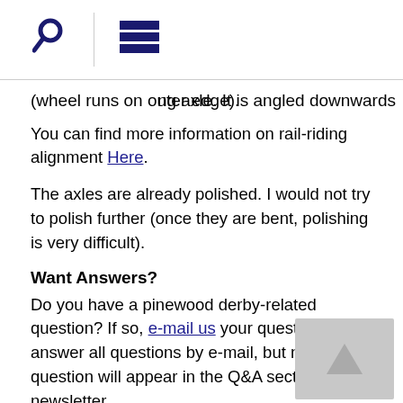[search icon] | [menu icon]
ng axle. It is angled downwards (wheel runs on outer edge).
You can find more information on rail-riding alignment Here.
The axles are already polished. I would not try to polish further (once they are bent, polishing is very difficult).
Want Answers?
Do you have a pinewood derby-related question? If so, e-mail us your question.We answer all questions by e-mail, but not every question will appear in the Q&A section of the newsletter.
Back Issues
Are you a new subscriber, or have you missed some of the previous newsletters? Don't miss out; all of the issues for Volume 5 through Volume 17 are posted on our web site.